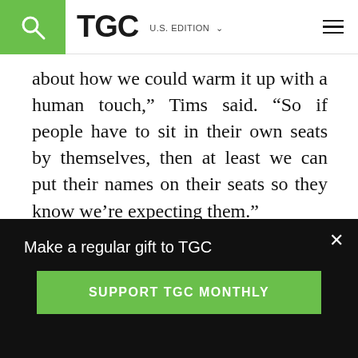TGC U.S. EDITION
about how we could warm it up with a human touch,” Tims said. “So if people have to sit in their own seats by themselves, then at least we can put their names on their seats so they know we’re expecting them.”
Setting expectations also helped. Immanuel sent out a video of a couple going to church—complete with remembering to use the
Make a regular gift to TGC
SUPPORT TGC MONTHLY